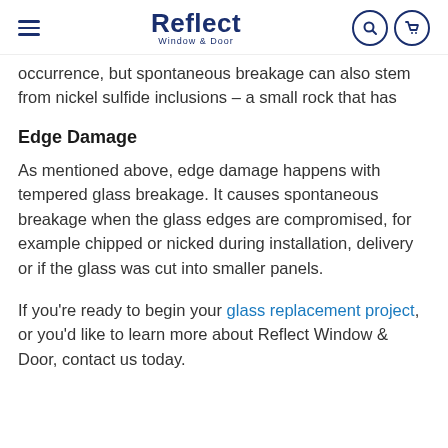Reflect Window & Door
occurrence, but spontaneous breakage can also stem from nickel sulfide inclusions – a small rock that has remained in the glass and has the natural desire to return to its natural size, causing the glass to break as it expands.
Edge Damage
As mentioned above, edge damage happens with tempered glass breakage. It causes spontaneous breakage when the glass edges are compromised, for example chipped or nicked during installation, delivery or if the glass was cut into smaller panels.
If you're ready to begin your glass replacement project, or you'd like to learn more about Reflect Window & Door, contact us today.